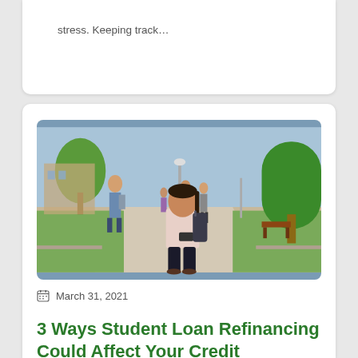stress. Keeping track…
[Figure (photo): Female college student walking on campus path looking at her smartphone, with other students and trees visible in the background on a sunny day.]
March 31, 2021
3 Ways Student Loan Refinancing Could Affect Your Credit